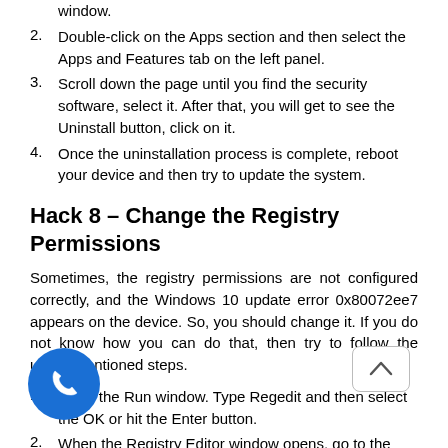window.
2. Double-click on the Apps section and then select the Apps and Features tab on the left panel.
3. Scroll down the page until you find the security software, select it. After that, you will get to see the Uninstall button, click on it.
4. Once the uninstallation process is complete, reboot your device and then try to update the system.
Hack 8 – Change the Registry Permissions
Sometimes, the registry permissions are not configured correctly, and the Windows 10 update error 0x80072ee7 appears on the device. So, you should change it. If you do not know how you can do that, then try to follow the under-mentioned steps.
1. Open the Run window. Type Regedit and then select the OK or hit the Enter button.
2. When the Registry Editor window opens, go to the following